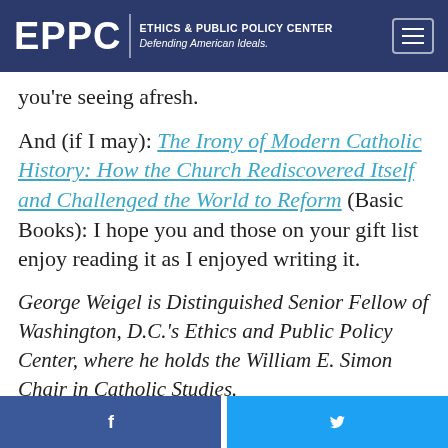EPPC | ETHICS & PUBLIC POLICY CENTER Defending American Ideals.
you're seeing afresh.
And (if I may): The Irony of Modern Catholic History: How the Church Rediscovered Itself and Challenged the World to Reform (Basic Books): I hope you and those on your gift list enjoy reading it as I enjoyed writing it.
George Weigel is Distinguished Senior Fellow of Washington, D.C.'s Ethics and Public Policy Center, where he holds the William E. Simon Chair in Catholic Studies.